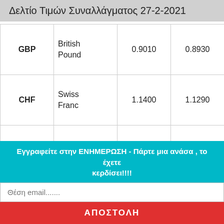Δελτίο Τιμών Συναλλάγματος 27-2-2021
| Code | Name | Col1 | Col2 | Col3 |
| --- | --- | --- | --- | --- |
| GBP | British Pound | 0.9010 | 0.8930 | 0.848 |
| CHF | Swiss Franc | 1.1400 | 1.1290 | 1.073 |
| CAD | Canadian Dollar | 1.5880 | 1.5730 | 1.495 |
Εγγραφείτε στην ΕΝΗΜΕΡΩΣΗ - Πάρτε μια ανάσα , το έχετε κερδίσει!!!!
Θέση email.......
ΑΠΟΣΤΟΛΗ